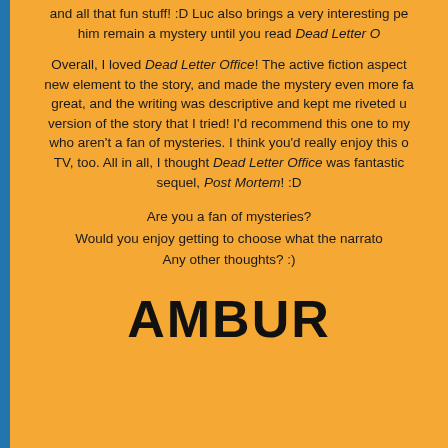and all that fun stuff! :D Luc also brings a very interesting pe... him remain a mystery until you read Dead Letter O...
Overall, I loved Dead Letter Office! The active fiction aspect... new element to the story, and made the mystery even more fa... great, and the writing was descriptive and kept me riveted... version of the story that I tried! I'd recommend this one to my... who aren't a fan of mysteries. I think you'd really enjoy this o... TV, too. All in all, I thought Dead Letter Office was fantastic... sequel, Post Mortem! :D
Are you a fan of mysteries?
Would you enjoy getting to choose what the narrato...
Any other thoughts? :)
AMBUR